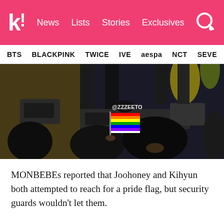k! News  Lists  Stories  Exclusives
BTS  BLACKPINK  TWICE  IVE  aespa  NCT  SEVE
[Figure (photo): Concert photo showing performers on stage in dark outfits, with a fan in the crowd holding a rainbow pride flag. A watermark reading @ZZZEETO is visible on the image.]
MONBEBEs reported that Joohoney and Kihyun both attempted to reach for a pride flag, but security guards wouldn't let them.